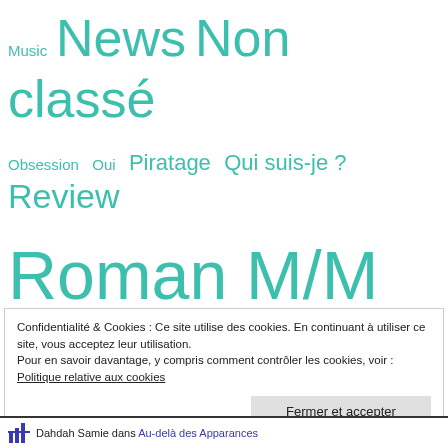Music  News  Non classé  Obsession  Oui  Piratage  Qui suis-je ?  Review  Roman M/M en français  Scömiche  Série Glitter  Série Rêves  Tribune  À découvrir
Confidentialité & Cookies : Ce site utilise des cookies. En continuant à utiliser ce site, vous acceptez leur utilisation.
Pour en savoir davantage, y compris comment contrôler les cookies, voir :
Politique relative aux cookies
Fermer et accepter
Dahdah Samie dans Au-delà des Apparances